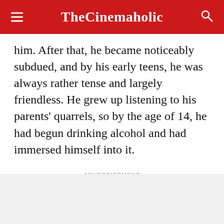TheCinemaholic
him. After that, he became noticeably subdued, and by his early teens, he was always rather tense and largely friendless. He grew up listening to his parents' quarrels, so by the age of 14, he had begun drinking alcohol and had immersed himself into it.
ADVERTISEMENT